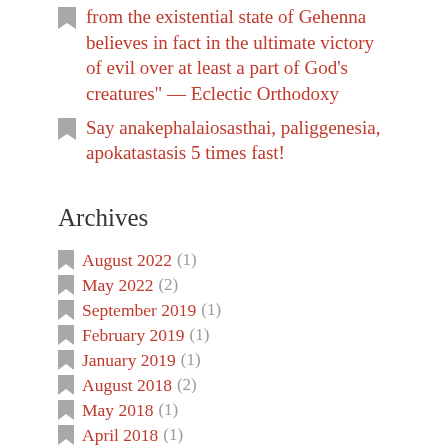from the existential state of Gehenna believes in fact in the ultimate victory of evil over at least a part of God's creatures" — Eclectic Orthodoxy
Say anakephalaiosasthai, paliggenesia, apokatastasis 5 times fast!
Archives
August 2022 (1)
May 2022 (2)
September 2019 (1)
February 2019 (1)
January 2019 (1)
August 2018 (2)
May 2018 (1)
April 2018 (1)
October 2017 (1)